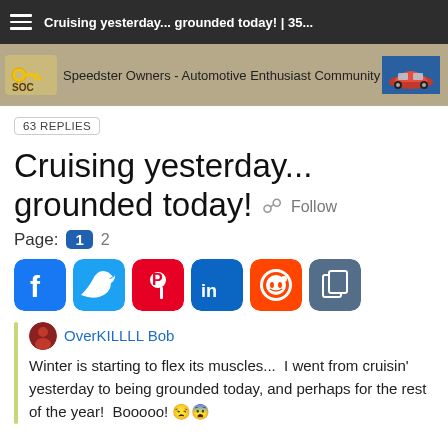Cruising yesterday... grounded today! | 35...
[Figure (logo): Speedster Owners - Automotive Enthusiast Community banner with SOC logo and red car image]
63 REPLIES
Cruising yesterday... grounded today! Follow
Page: 1  2
[Figure (infographic): Social sharing buttons: Facebook, Twitter, Pinterest, LinkedIn, Reddit, Copy]
OverKILLLL Bob
Winter is starting to flex its muscles...  I went from cruisin' yesterday to being grounded today, and perhaps for the rest of the year!  Booooo!